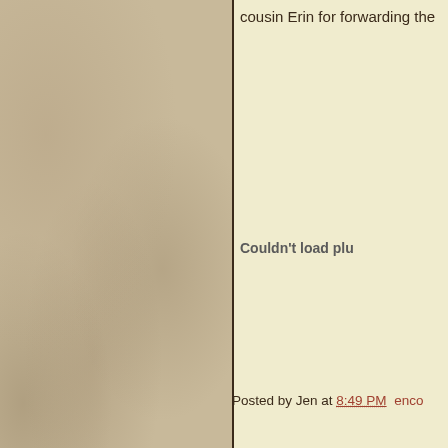cousin Erin for forwarding the
[Figure (screenshot): Embedded media player placeholder showing 'Couldn't load plu' (plugin error message, truncated). Beige/cream background with dark border on left and bottom.]
Posted by Jen at 8:49 PM  enco